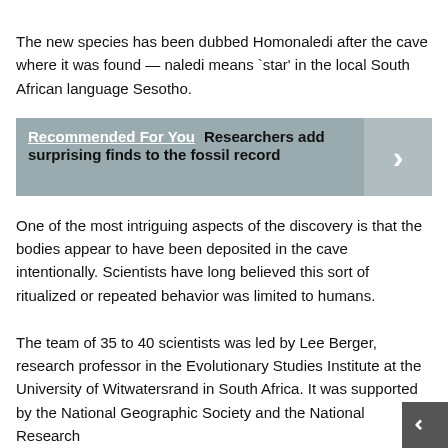The new species has been dubbed Homonaledi after the cave where it was found — naledi means `star' in the local South African language Sesotho.
[Figure (infographic): Recommended For You banner: 'Recommended For You  Researchers add surprising finds to the fossil record' with a right-arrow chevron button on the right side.]
One of the most intriguing aspects of the discovery is that the bodies appear to have been deposited in the cave intentionally. Scientists have long believed this sort of ritualized or repeated behavior was limited to humans.
The team of 35 to 40 scientists was led by Lee Berger, research professor in the Evolutionary Studies Institute at the University of Witwatersrand in South Africa. It was supported by the National Geographic Society and the National Research